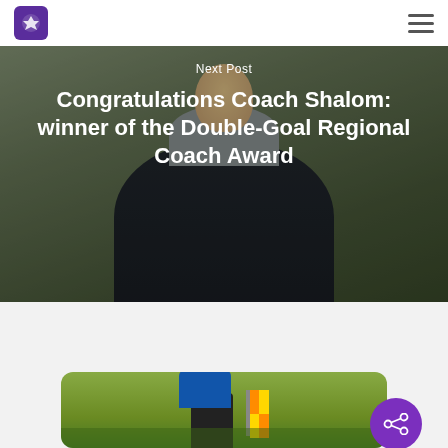Next Post
Congratulations Coach Shalom: winner of the Double-Goal Regional Coach Award
Recommended For You
[Figure (photo): Soccer/football referee holding a corner flag on a green grass pitch]